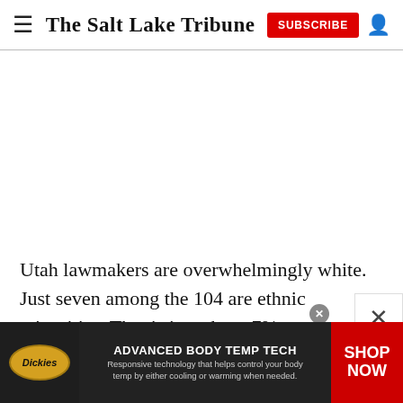The Salt Lake Tribune
Utah lawmakers are overwhelmingly white. Just seven among the 104 are ethnic minorities. That is just about 7% compared to a statewide population that is some
[Figure (infographic): Dickies advertisement banner: ADVANCED BODY TEMP TECH — Responsive technology that helps control your body temp by either cooling or warming when needed. SHOP NOW]